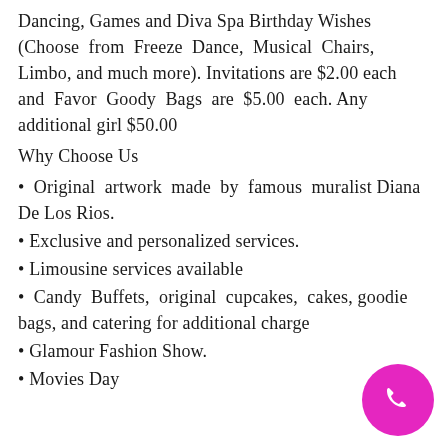Dancing, Games and Diva Spa Birthday Wishes (Choose from Freeze Dance, Musical Chairs, Limbo, and much more). Invitations are $2.00 each and Favor Goody Bags are $5.00 each. Any additional girl $50.00
Why Choose Us
Original artwork made by famous muralist Diana De Los Rios.
Exclusive and personalized services.
Limousine services available
Candy Buffets, original cupcakes, cakes, goodie bags, and catering for additional charge
Glamour Fashion Show.
Movies Day
[Figure (illustration): Magenta circular phone call button in bottom-right corner]